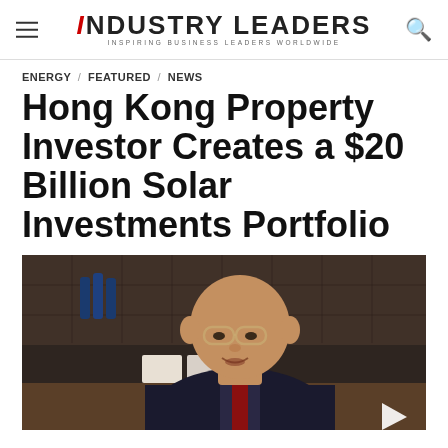INDUSTRY LEADERS — INSPIRING BUSINESS LEADERS WORLDWIDE
ENERGY / FEATURED / NEWS
Hong Kong Property Investor Creates a $20 Billion Solar Investments Portfolio
[Figure (photo): Photo of a middle-aged Asian businessman wearing glasses and a dark suit, seated at a desk in an office setting with bookshelves and blue bottles in the background. A white play/arrow triangle button is visible in the lower right corner of the image.]